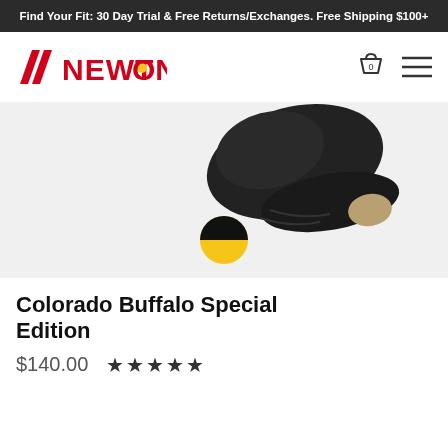Find Your Fit: 30 Day Trial & Free Returns/Exchanges. Free Shipping $100+
[Figure (logo): Newton Running logo — red swoosh/slash mark with red text NEWTON and a yellow dot in the O]
[Figure (photo): Black Newton running shoe heel detail shown at an angle on light gray background, with a small black and yellow circular badge below]
Colorado Buffalo Special Edition
$140.00  ★★★★★